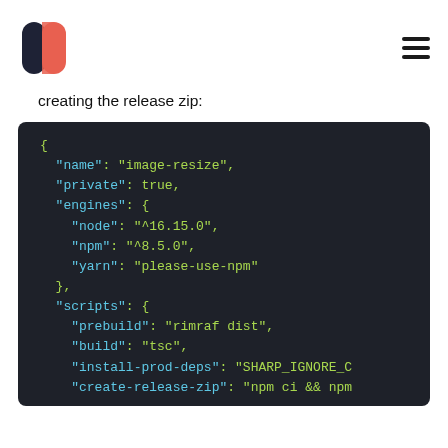[Figure (logo): Modalyst logo - two pill shapes, dark navy and coral/salmon colored]
creating the release zip:
{
  "name": "image-resize",
  "private": true,
  "engines": {
    "node": "^16.15.0",
    "npm": "^8.5.0",
    "yarn": "please-use-npm"
  },
  "scripts": {
    "prebuild": "rimraf dist",
    "build": "tsc",
    "install-prod-deps": "SHARP_IGNORE_C
    "create-release-zip": "npm ci && npm